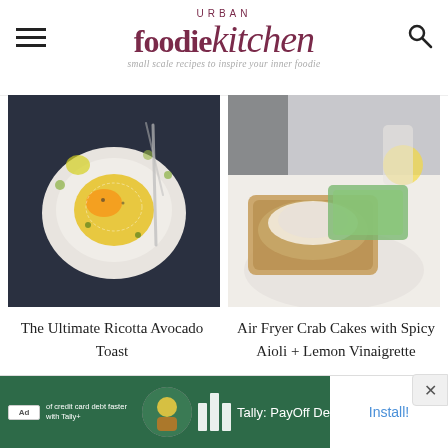Urban foodie kitchen — small scale recipes to inspire your inner foodie
[Figure (photo): Top-down view of avocado toast with a fried egg on a white plate with a fork, on a dark blue surface with herbs and spices]
[Figure (photo): Air fryer crab cakes with spicy aioli drizzle on a white plate with green salad, with lemon in background]
The Ultimate Ricotta Avocado Toast
Air Fryer Crab Cakes with Spicy Aioli + Lemon Vinaigrette
Ad — Tally: PayOff Debt Faster — Install!